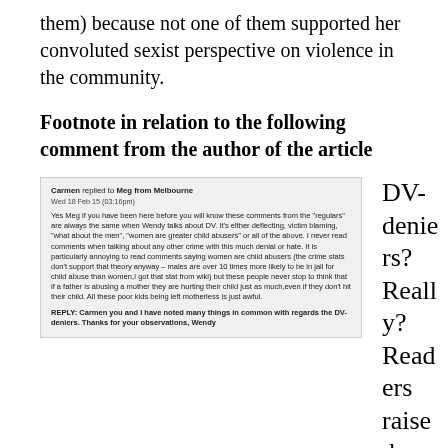them) because not one of them supported her convoluted sexist perspective on violence in the community.
Footnote in relation to the following comment from the author of the article
[Figure (screenshot): Screenshot of a comment by Carmen replying to Meg from Melbourne, Wed 18 Feb 15 (03:16pm), discussing DV-deniers and victim blaming. Includes a reply from Wendy.]
DV-deniers? Really? Readers raised concerns about the fact you had built your case on a series of crimes in which none of the alleged perpetrators had yet been convicted. That's not denial, simply fact. Readers raised concerns that you based your article on events within a period of just a few